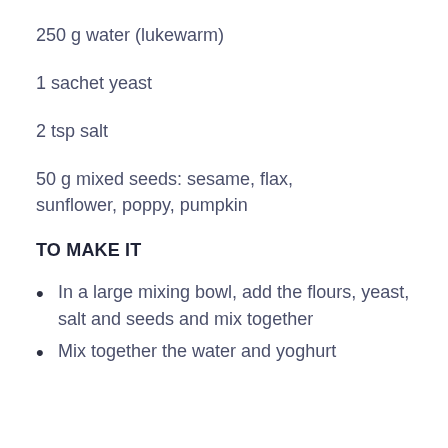250 g water (lukewarm)
1 sachet yeast
2 tsp salt
50 g mixed seeds: sesame, flax, sunflower, poppy, pumpkin
TO MAKE IT
In a large mixing bowl, add the flours, yeast, salt and seeds and mix together
Mix together the water and yoghurt